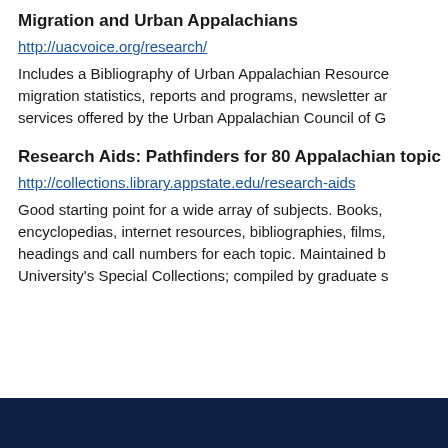Migration and Urban Appalachians
http://uacvoice.org/research/
Includes a Bibliography of Urban Appalachian Resources, migration statistics, reports and programs, newsletter and services offered by the Urban Appalachian Council of G
Research Aids: Pathfinders for 80 Appalachian topics
http://collections.library.appstate.edu/research-aids
Good starting point for a wide array of subjects. Books, encyclopedias, internet resources, bibliographies, films, headings and call numbers for each topic. Maintained by University's Special Collections; compiled by graduate s